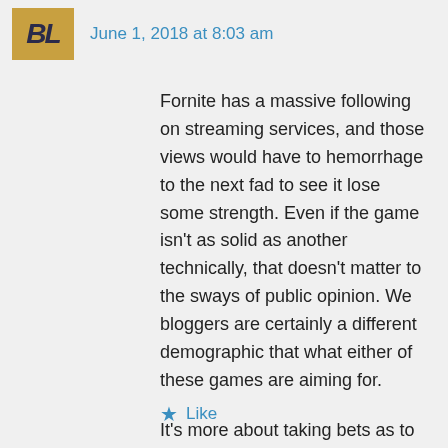[Figure (logo): Avatar/logo image with stylized letters in yellow/orange background]
June 1, 2018 at 8:03 am
Fornite has a massive following on streaming services, and those views would have to hemorrhage to the next fad to see it lose some strength. Even if the game isn't as solid as another technically, that doesn't matter to the sways of public opinion. We bloggers are certainly a different demographic that what either of these games are aiming for.
It's more about taking bets as to when the fad shifts to something else.
Like